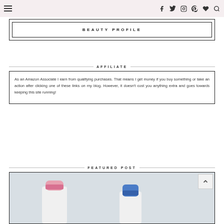Navigation bar with hamburger menu and social icons: Facebook, Twitter, Instagram, Pinterest, Heart, Search
BEAUTY PROFILE
AFFILIATE
As an Amazon Associate I earn from qualifying purchases. That means I get money if you buy something or take an action after clicking one of these links on my blog. However, it doesn't cost you anything extra and goes towards keeping this site running!
FEATURED POST
[Figure (photo): Product bottles - one with pink cap and one with blue cap, white bottles, against white background]